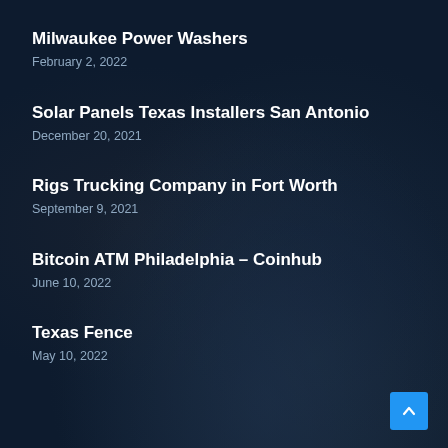Milwaukee Power Washers
February 2, 2022
Solar Panels Texas Installers San Antonio
December 20, 2021
Rigs Trucking Company in Fort Worth
September 9, 2021
Bitcoin ATM Philadelphia – Coinhub
June 10, 2022
Texas Fence
May 10, 2022